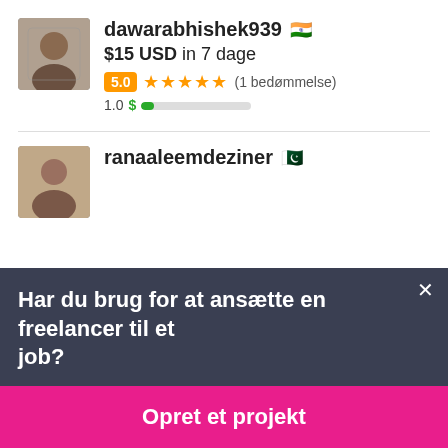dawarabhishek939 🇮🇳
$15 USD in 7 dage
5.0 ★★★★★ (1 bedømmelse)
1.0 $ [progress bar]
ranaaleemdeziner 🇵🇰
Har du brug for at ansætte en freelancer til et job?
Opret et projekt